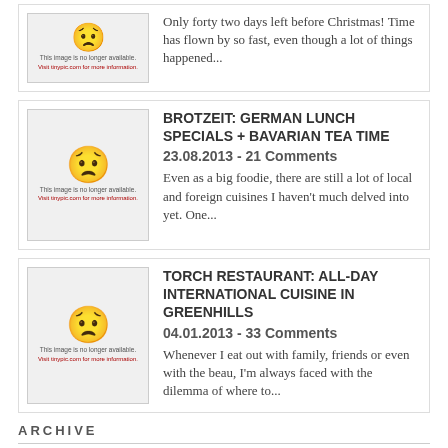Only forty two days left before Christmas! Time has flown by so fast, even though a lot of things happened...
BROTZEIT: GERMAN LUNCH SPECIALS + BAVARIAN TEA TIME
23.08.2013 - 21 Comments
Even as a big foodie, there are still a lot of local and foreign cuisines I haven't much delved into yet. One...
TORCH RESTAURANT: ALL-DAY INTERNATIONAL CUISINE IN GREENHILLS
04.01.2013 - 33 Comments
Whenever I eat out with family, friends or even with the beau, I'm always faced with the dilemma of where to...
ARCHIVE
2022 (1)
2021 (1)
2020 (3)
2019 (1)
2018 (13)
2017 (53)